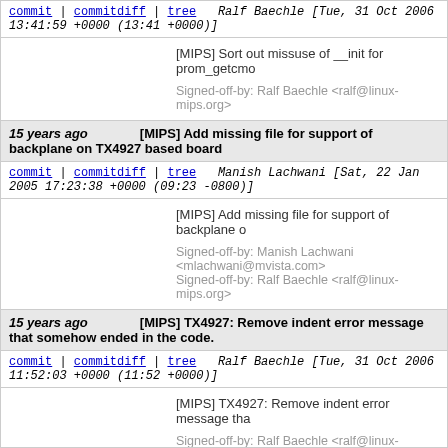commit | commitdiff | tree   Ralf Baechle [Tue, 31 Oct 2006 13:41:59 +0000 (13:41 +0000)]
[MIPS] Sort out missuse of __init for prom_getcmo
Signed-off-by: Ralf Baechle <ralf@linux-mips.org>
15 years ago   [MIPS] Add missing file for support of backplane on TX4927 based board
commit | commitdiff | tree   Manish Lachwani [Sat, 22 Jan 2005 17:23:38 +0000 (09:23 -0800)]
[MIPS] Add missing file for support of backplane o
Signed-off-by: Manish Lachwani <mlachwani@mvista.com>
Signed-off-by: Ralf Baechle <ralf@linux-mips.org>
15 years ago   [MIPS] TX4927: Remove indent error message that somehow ended in the code.
commit | commitdiff | tree   Ralf Baechle [Tue, 31 Oct 2006 11:52:03 +0000 (11:52 +0000)]
[MIPS] TX4927: Remove indent error message tha
Signed-off-by: Ralf Baechle <ralf@linux-